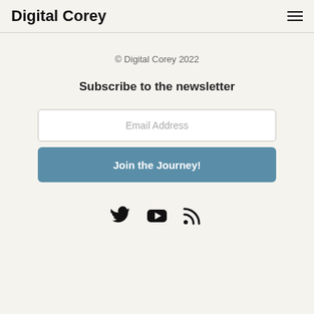Digital Corey
© Digital Corey 2022
Subscribe to the newsletter
Email Address
Join the Journey!
[Figure (illustration): Social media icons: Twitter bird, YouTube play button, RSS feed symbol]